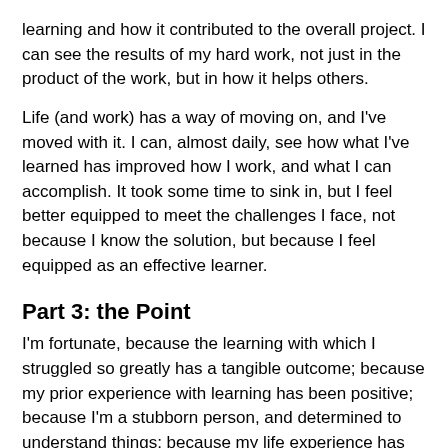learning and how it contributed to the overall project. I can see the results of my hard work, not just in the product of the work, but in how it helps others.
Life (and work) has a way of moving on, and I've moved with it. I can, almost daily, see how what I've learned has improved how I work, and what I can accomplish. It took some time to sink in, but I feel better equipped to meet the challenges I face, not because I know the solution, but because I feel equipped as an effective learner.
Part 3: the Point
I'm fortunate, because the learning with which I struggled so greatly has a tangible outcome; because my prior experience with learning has been positive; because I'm a stubborn person, and determined to understand things; because my life experience has prepared me to meet challenges like this one.
Our students - our children - will face a great many challenges, and at times, it's likely they will respond in a less-than-constructive way. School, life, adults, even their peers